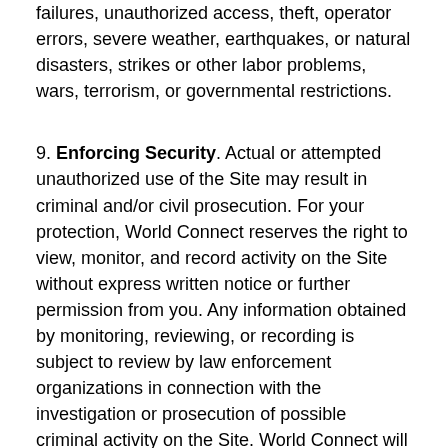failures, unauthorized access, theft, operator errors, severe weather, earthquakes, or natural disasters, strikes or other labor problems, wars, terrorism, or governmental restrictions.
9. Enforcing Security. Actual or attempted unauthorized use of the Site may result in criminal and/or civil prosecution. For your protection, World Connect reserves the right to view, monitor, and record activity on the Site without express written notice or further permission from you. Any information obtained by monitoring, reviewing, or recording is subject to review by law enforcement organizations in connection with the investigation or prosecution of possible criminal activity on the Site. World Connect will also comply with all court orders involving requests for such information.
10. Submissions. World Connect welcomes your feedback and suggestions about how to improve this Site, as well as